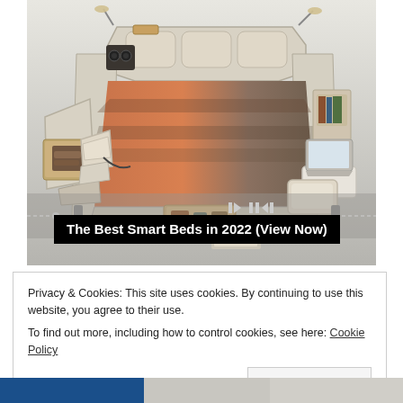[Figure (photo): A luxury smart bed with multiple features including speakers, massage chair attachment, storage drawers, reading lamp, and various built-in accessories displayed on a light gray background.]
The Best Smart Beds in 2022 (View Now)
Privacy & Cookies: This site uses cookies. By continuing to use this website, you agree to their use.
To find out more, including how to control cookies, see here: Cookie Policy
Close and accept